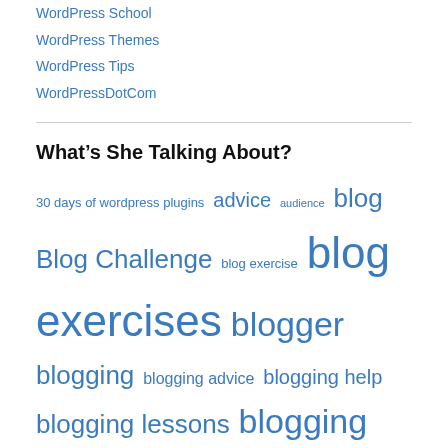WordPress School
WordPress Themes
WordPress Tips
WordPressDotCom
What’s She Talking About?
30 days of wordpress plugins advice audience blog Blog Challenge blog exercise blog exercises blogger blogging blogging advice blogging help blogging lessons blogging tips blog writing categories comments community community building content copyright css design design tips editing editorial calendar education events hacked hacking help how to blog how to use wordpress